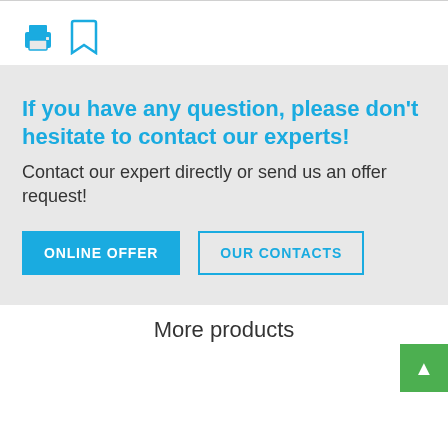[Figure (other): Print icon (printer) and bookmark icon in blue, displayed in the top white bar]
If you have any question, please don't hesitate to contact our experts!
Contact our expert directly or send us an offer request!
ONLINE OFFER | OUR CONTACTS (buttons)
More products